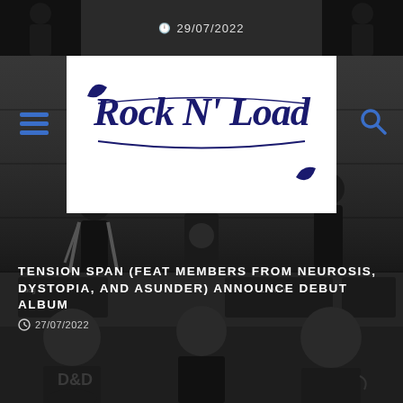29/07/2022
[Figure (photo): Rock N Load website header with logo overlay on band photo. Hamburger menu icon on left, search icon on right.]
TENSION SPAN (FEAT MEMBERS FROM NEUROSIS, DYSTOPIA, AND ASUNDER) ANNOUNCE DEBUT ALBUM
27/07/2022
[Figure (photo): Black and white photo of three heavy metal band members standing indoors, one wearing a death metal t-shirt.]